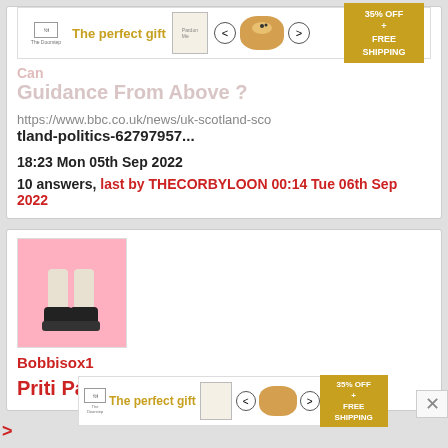[Figure (screenshot): Advertisement banner: 'The perfect gift' with food bowl image, navigation arrows, and '35% OFF + FREE SHIPPING' offer in gold box]
Can
Guidance From Above ?
https://www.bbc.co.uk/news/uk-scotland-scotland-politics-62797957...
18:23 Mon 05th Sep 2022
10 answers, last by THECORBYLOON 00:14 Tue 06th Sep 2022
[Figure (photo): User avatar image showing legs/shoes on pink background]
Bobbisox1
Priti Patel Resigns. Did She Go
[Figure (screenshot): Advertisement banner at bottom: 'The perfect gift' with food bowl image, navigation arrows, and '35% OFF + FREE SHIPPING' offer]